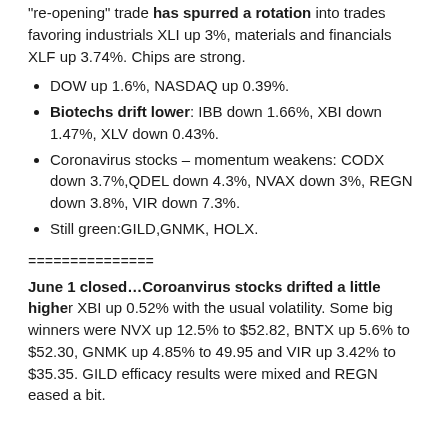“re-opening” trade has spurred a rotation into trades favoring industrials XLI up 3%, materials and financials XLF up 3.74%. Chips are strong.
DOW up 1.6%, NASDAQ up 0.39%.
Biotechs drift lower: IBB down 1.66%, XBI down 1.47%, XLV down 0.43%.
Coronavirus stocks – momentum weakens: CODX down 3.7%,QDEL down 4.3%, NVAX down 3%, REGN down 3.8%, VIR down 7.3%.
Still green:GILD,GNMK, HOLX.
===============
June 1 closed…Coroanvirus stocks drifted a little higher XBI up 0.52% with the usual volatility. Some big winners were NVX up 12.5% to $52.82, BNTX up 5.6% to $52.30, GNMK up 4.85% to 49.95 and VIR up 3.42% to $35.35. GILD efficacy results were mixed and REGN eased a bit.